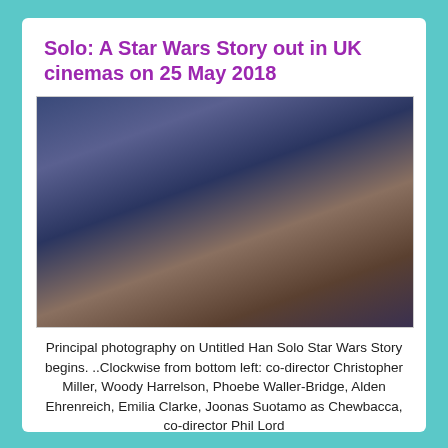Solo: A Star Wars Story out in UK cinemas on 25 May 2018
[Figure (photo): Group photo of the cast of Solo: A Star Wars Story on the set of the Millennium Falcon. Clockwise from bottom left: co-director Christopher Miller, Woody Harrelson, Phoebe Waller-Bridge, Alden Ehrenreich, Emilia Clarke, Joonas Suotamo as Chewbacca, co-director Phil Lord, and others.]
Principal photography on Untitled Han Solo Star Wars Story begins. ..Clockwise from bottom left: co-director Christopher Miller, Woody Harrelson, Phoebe Waller-Bridge, Alden Ehrenreich, Emilia Clarke, Joonas Suotamo as Chewbacca, co-director Phil Lord